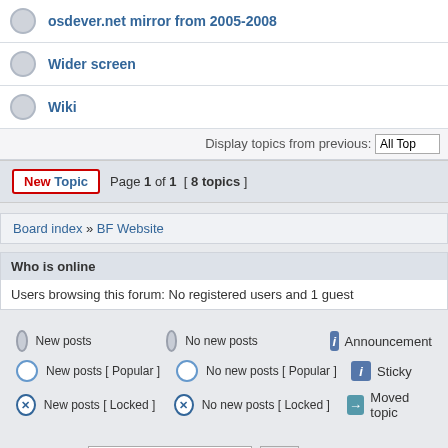osdever.net mirror from 2005-2008
Wider screen
Wiki
Display topics from previous: All Top
New Topic   Page 1 of 1  [ 8 topics ]
Board index » BF Website
Who is online
Users browsing this forum: No registered users and 1 guest
New posts   No new posts   Announcement
New posts [ Popular ]   No new posts [ Popular ]   Sticky
New posts [ Locked ]   No new posts [ Locked ]   Moved topic
Search for:   Go
Powered by phpBB © Designed by Vjachesla